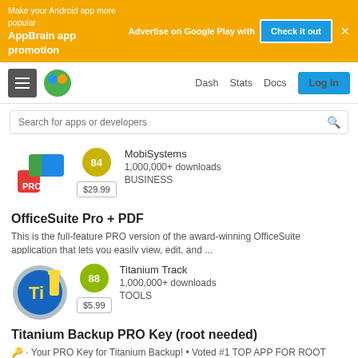[Figure (screenshot): AppBrain advertisement banner: 'Make your Android app more popular. Advertise on Google Play with AppBrain app promotion. Check it out. ×']
[Figure (screenshot): AppBrain navigation bar with hamburger menu, logo, Dash, Stats, Docs links and Log in button]
[Figure (screenshot): Search bar: 'Search for apps or developers']
[Figure (screenshot): App listing card for OfficeSuite Pro + PDF by MobiSystems. Score 84, $29.99, 1,000,000+ downloads, BUSINESS category.]
OfficeSuite Pro + PDF
This is the full-feature PRO version of the award-winning OfficeSuite application that lets you easily view, edit, and ...
[Figure (screenshot): App listing card for Titanium Backup PRO Key (root needed) by Titanium Track. Score 88, $5.99, 1,000,000+ downloads, TOOLS category.]
Titanium Backup PRO Key (root needed)
🔑 · Your PRO Key for Titanium Backup! • Voted #1 TOP APP FOR ROOT USERS on Twitter. • New DEMO VI...